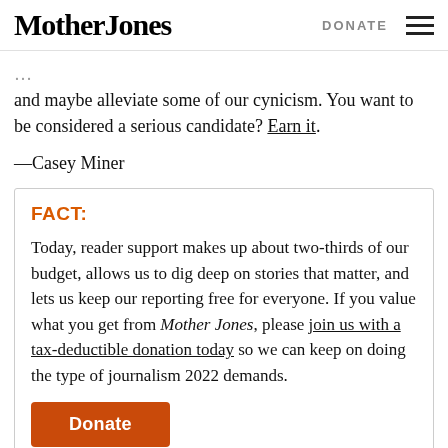Mother Jones | DONATE
…and maybe alleviate some of our cynicism. You want to be considered a serious candidate? Earn it.
—Casey Miner
FACT:
Today, reader support makes up about two-thirds of our budget, allows us to dig deep on stories that matter, and lets us keep our reporting free for everyone. If you value what you get from Mother Jones, please join us with a tax-deductible donation today so we can keep on doing the type of journalism 2022 demands.
Donate